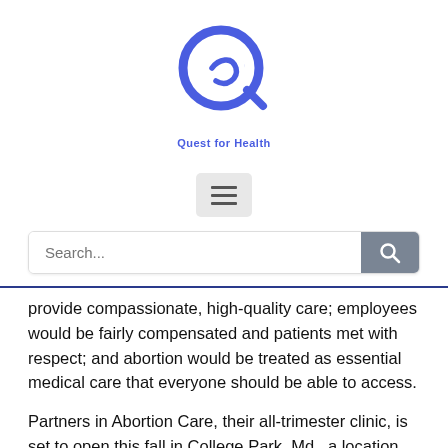[Figure (logo): Quest for Health logo — blue stylized Q/spiral icon with text 'Quest for Health' below]
[Figure (other): Hamburger menu button with three horizontal lines]
[Figure (other): Search bar with placeholder text 'Search...' and a gray search button with magnifying glass icon]
provide compassionate, high-quality care; employees would be fairly compensated and patients met with respect; and abortion would be treated as essential medical care that everyone should be able to access.
Partners in Abortion Care, their all-trimester clinic, is set to open this fall in College Park, Md., a location they hope will be convenient not only for themselves as D.C.-area residents